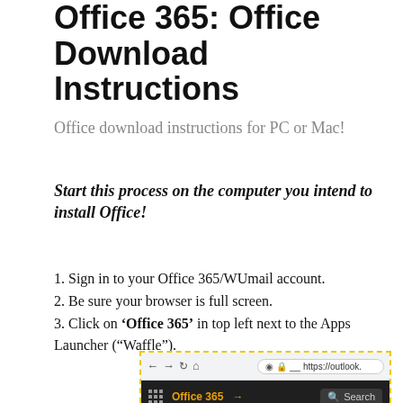Office 365: Office Download Instructions
Office download instructions for PC or Mac!
Start this process on the computer you intend to install Office!
1. Sign in to your Office 365/WUmail account.
2. Be sure your browser is full screen.
3. Click on ‘Office 365’ in top left next to the Apps Launcher (“Waffle”).
[Figure (screenshot): Screenshot of a browser showing the Office 365 interface with a dark toolbar, waffle/apps launcher icon, 'Office 365' link with arrow, a search bar, 'Apps' label, and 'Mark all as read' option. The screenshot is highlighted with a yellow dashed border.]